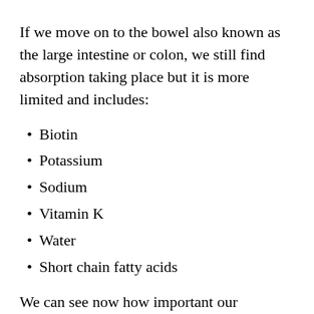If we move on to the bowel also known as the large intestine or colon, we still find absorption taking place but it is more limited and includes:
Biotin
Potassium
Sodium
Vitamin K
Water
Short chain fatty acids
We can see now how important our digestive system is. No matter how well we eat if our digestive system is self...